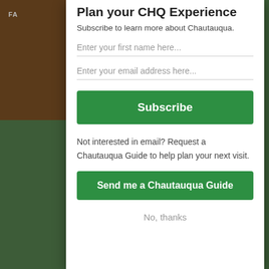Plan your CHQ Experience
Subscribe to learn more about Chautauqua.
Enter your first name here...
Enter your email address here...
Subscribe
Not interested in email? Request a Chautauqua Guide to help plan your next visit.
Send me a Chautauqua Guide
No, thanks